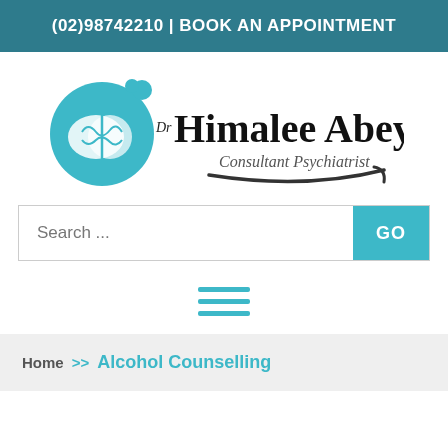(02)98742210 | BOOK AN APPOINTMENT
[Figure (logo): Dr Himalee Abeya Consultant Psychiatrist logo with teal brain circle icon and decorative swoosh]
Search ...
[Figure (other): Hamburger menu icon with three teal horizontal lines]
Home >> Alcohol Counselling